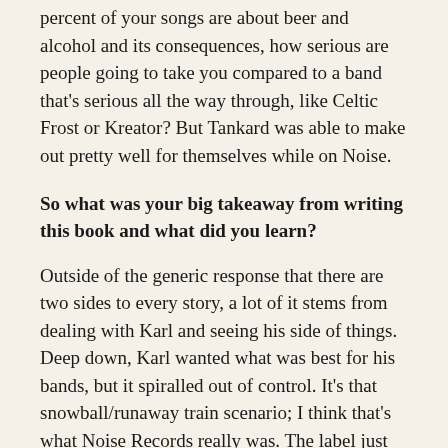percent of your songs are about beer and alcohol and its consequences, how serious are people going to take you compared to a band that's serious all the way through, like Celtic Frost or Kreator? But Tankard was able to make out pretty well for themselves while on Noise.
So what was your big takeaway from writing this book and what did you learn?
Outside of the generic response that there are two sides to every story, a lot of it stems from dealing with Karl and seeing his side of things. Deep down, Karl wanted what was best for his bands, but it spiralled out of control. It's that snowball/runaway train scenario; I think that's what Noise Records really was. The label just blew up so fast between '84 and '87 and '88, those were the peak years. After